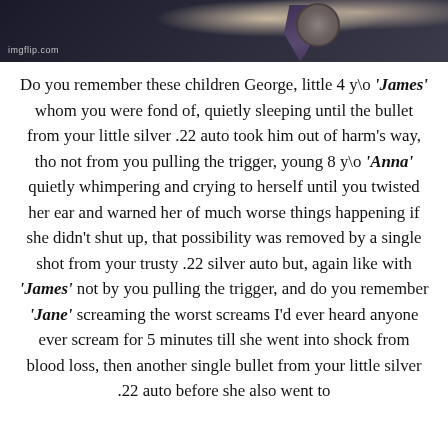[Figure (photo): Top portion of a man in a dark suit and decorative tie with a badge/pin, watermark 'imgflip.com' visible in lower left of photo]
Do you remember these children George, little 4 y\o 'James' whom you were fond of, quietly sleeping until the bullet from your little silver .22 auto took him out of harm's way, tho not from you pulling the trigger, young 8 y\o 'Anna' quietly whimpering and crying to herself until you twisted her ear and warned her of much worse things happening if she didn't shut up, that possibility was removed by a single shot from your trusty .22 silver auto but, again like with 'James' not by you pulling the trigger, and do you remember 'Jane' screaming the worst screams I'd ever heard anyone ever scream for 5 minutes till she went into shock from blood loss, then another single bullet from your little silver .22 auto before she also went to